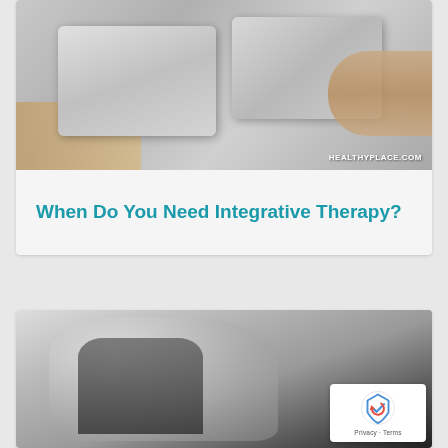[Figure (photo): Hands fitting puzzle pieces together against a light background, with HEALTHYPLACE.COM watermark in bottom right corner]
When Do You Need Integrative Therapy?
[Figure (photo): Black and white photo of a person sitting with head bowed, appearing distressed or contemplative, with a reCAPTCHA privacy badge overlay in the bottom right]